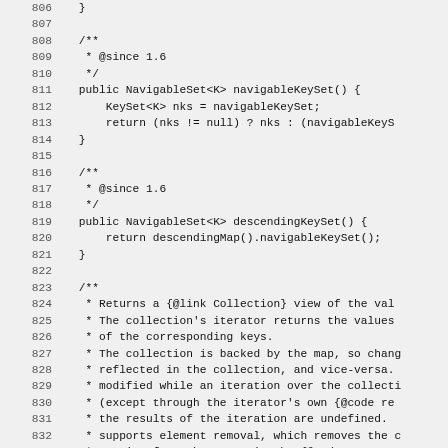Source code viewer showing lines 806-836 of Java TreeMap implementation, including navigableKeySet(), descendingKeySet() methods and start of values() javadoc comment.